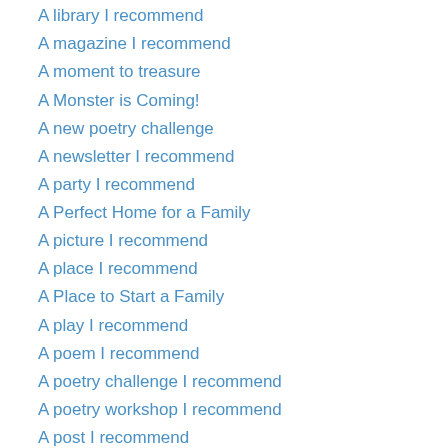A library I recommend
A magazine I recommend
A moment to treasure
A Monster is Coming!
A new poetry challenge
A newsletter I recommend
A party I recommend
A Perfect Home for a Family
A picture I recommend
A place I recommend
A Place to Start a Family
A play I recommend
A poem I recommend
A poetry challenge I recommend
A poetry workshop I recommend
A post I recommend
A Prairie Home Companion
A program I recommend
A project I recommend
A publication I recommend